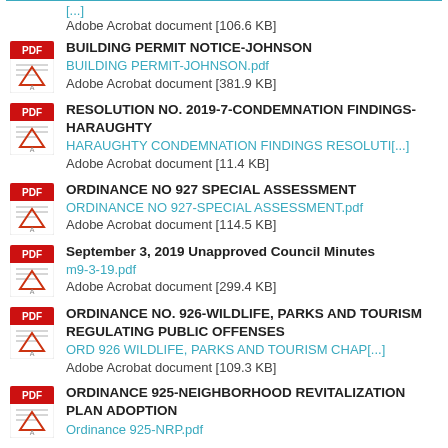Adobe Acrobat document [106.6 KB]
BUILDING PERMIT NOTICE-JOHNSON
BUILDING PERMIT-JOHNSON.pdf
Adobe Acrobat document [381.9 KB]
RESOLUTION NO. 2019-7-CONDEMNATION FINDINGS-HARAUGHTY
HARAUGHTY CONDEMNATION FINDINGS RESOLUTI[...]
Adobe Acrobat document [11.4 KB]
ORDINANCE NO 927 SPECIAL ASSESSMENT
ORDINANCE NO 927-SPECIAL ASSESSMENT.pdf
Adobe Acrobat document [114.5 KB]
September 3, 2019 Unapproved Council Minutes
m9-3-19.pdf
Adobe Acrobat document [299.4 KB]
ORDINANCE NO. 926-WILDLIFE, PARKS AND TOURISM REGULATING PUBLIC OFFENSES
ORD 926 WILDLIFE, PARKS AND TOURISM CHAP[...]
Adobe Acrobat document [109.3 KB]
ORDINANCE 925-NEIGHBORHOOD REVITALIZATION PLAN ADOPTION
Ordinance 925-NRP.pdf